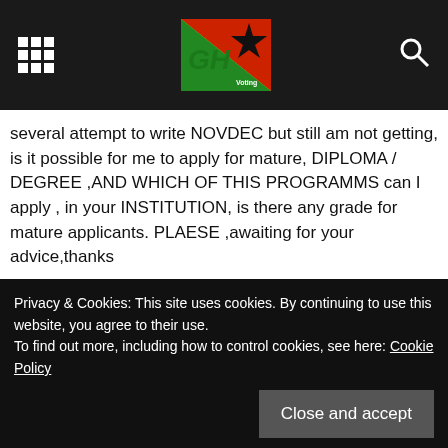GH Voting site header with navigation grid icon, logo, and search icon
several attempt to write NOVDEC but still am not getting, is it possible for me to apply for mature, DIPLOMA / DEGREE ,AND WHICH OF THIS PROGRAMMS can I apply , in your INSTITUTION, is there any grade for mature applicants. PLAESE ,awaiting for your advice,thanks
Reply
Sammy  January 22, 2019 At 8:20 am
Please ive bought sandwich forms but i dont need it anymore… Interested person should call me on
Privacy & Cookies: This site uses cookies. By continuing to use this website, you agree to their use.
To find out more, including how to control cookies, see here: Cookie Policy
Close and accept
Am Amos Adade from Tema C.25..